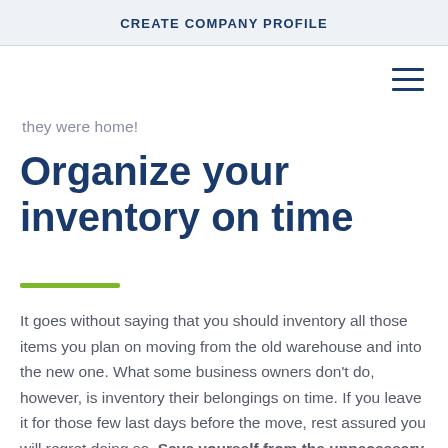CREATE COMPANY PROFILE
they were home!
Organize your inventory on time
It goes without saying that you should inventory all those items you plan on moving from the old warehouse and into the new one. What some business owners don't do, however, is inventory their belongings on time. If you leave it for those few last days before the move, rest assured you will regret doing so. Save yourself from the unnecessary headaches and do an